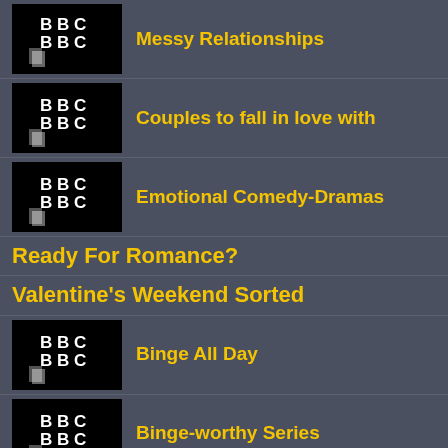Messy Relationships
Couples to fall in love with
Emotional Comedy-Dramas
Ready For Romance?
Valentine's Weekend Sorted
Binge All Day
Binge-worthy Series